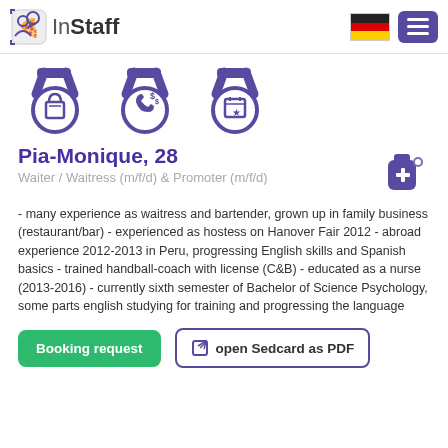InStaff
[Figure (illustration): Three purple medal icons: shopping bag, phone with dollar signs, and calendar with star]
Pia-Monique, 28
Waiter / Waitress (m/f/d) & Promoter (m/f/d)
- many experience as waitress and bartender, grown up in family business (restaurant/bar) - experienced as hostess on Hanover Fair 2012 - abroad experience 2012-2013 in Peru, progressing English skills and Spanish basics - trained handball-coach with license (C&B) - educated as a nurse (2013-2016) - currently sixth semester of Bachelor of Science Psychology, some parts english studying for training and progressing the language
Booking request   open Sedcard as PDF